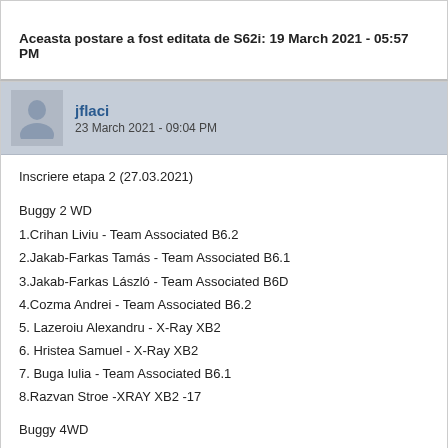Aceasta postare a fost editata de S62i: 19 March 2021 - 05:57 PM
jflaci
23 March 2021 - 09:04 PM
Inscriere etapa 2 (27.03.2021)
Buggy 2 WD
1.Crihan Liviu - Team Associated B6.2
2.Jakab-Farkas Tamás - Team Associated B6.1
3.Jakab-Farkas László - Team Associated B6D
4.Cozma Andrei - Team Associated B6.2
5. Lazeroiu Alexandru - X-Ray XB2
6. Hristea Samuel - X-Ray XB2
7. Buga Iulia - Team Associated B6.1
8.Razvan Stroe -XRAY XB2 -17
Buggy 4WD
1.Cozma Andrei - Team Associated B74